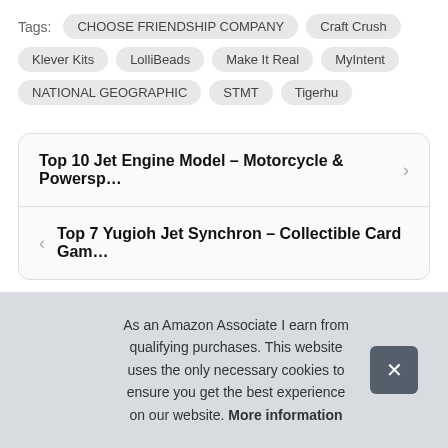Tags: CHOOSE FRIENDSHIP COMPANY   Craft Crush   Klever Kits   LolliBeads   Make It Real   MyIntent   NATIONAL GEOGRAPHIC   STMT   Tigerhu
Top 10 Jet Engine Model – Motorcycle & Powersp…
Top 7 Yugioh Jet Synchron – Collectible Card Gam…
As an Amazon Associate I earn from qualifying purchases. This website uses the only necessary cookies to ensure you get the best experience on our website. More information